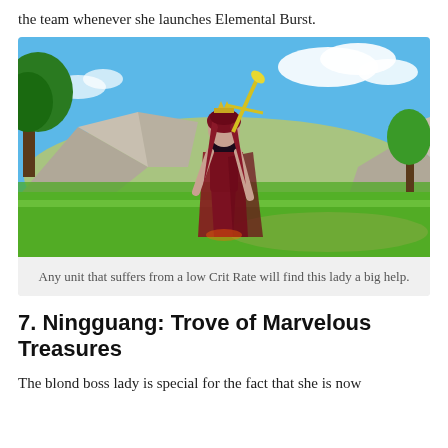the team whenever she launches Elemental Burst.
[Figure (photo): Game screenshot of a female character with long red hair holding a golden sword, standing in a lush green field with blue sky, clouds, rocks, and trees in the background. The character wears dark revealing clothing.]
Any unit that suffers from a low Crit Rate will find this lady a big help.
7. Ningguang: Trove of Marvelous Treasures
The blond boss lady is special for the fact that she is now